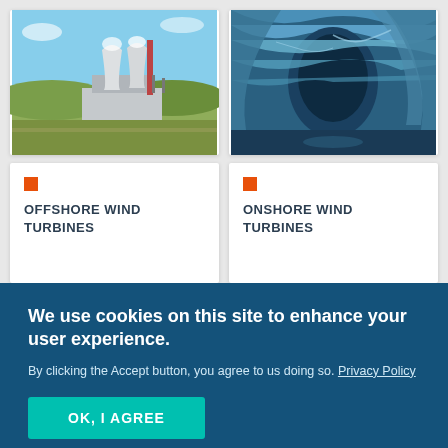[Figure (photo): Aerial view of a power plant with cooling towers and industrial facilities]
[Figure (photo): Close-up of glacier or ice cave interior with blue tones]
OFFSHORE WIND TURBINES
ONSHORE WIND TURBINES
We use cookies on this site to enhance your user experience.
By clicking the Accept button, you agree to us doing so. Privacy Policy
OK, I AGREE